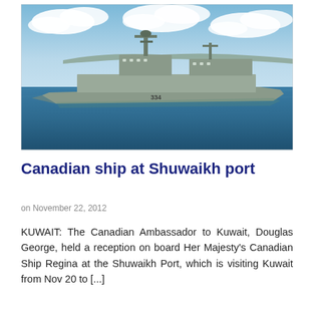[Figure (photo): A Canadian naval frigate (hull number 334) sailing at sea with blue sky and clouds in the background and an island visible on the horizon.]
Canadian ship at Shuwaikh port
on November 22, 2012
KUWAIT: The Canadian Ambassador to Kuwait, Douglas George, held a reception on board Her Majesty's Canadian Ship Regina at the Shuwaikh Port, which is visiting Kuwait from Nov 20 to [...]